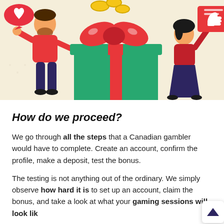[Figure (illustration): Flat-style illustration on a beige/cream background showing two cartoon people and a large gift box. On the left, a bearded man in a red shirt and dark trousers gestures toward a speech bubble with a heart. In the center, a large green gift box with a red ribbon and bow has gold coins falling above it. On the right, a woman in a red top and dark skirt holds up a red sign with a white thumbs-up icon and lines.]
How do we proceed?
We go through all the steps that a Canadian gambler would have to complete. Create an account, confirm the profile, make a deposit, test the bonus.
The testing is not anything out of the ordinary. We simply observe how hard it is to set up an account, claim the bonus, and take a look at what your gaming sessions will look lik…